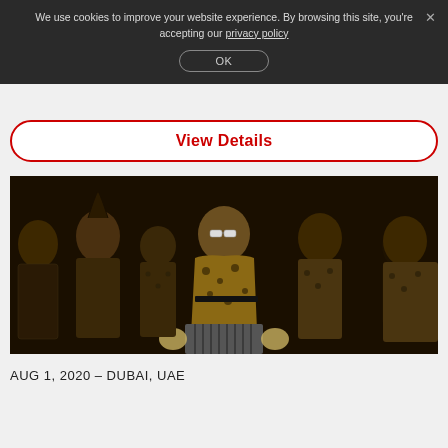We use cookies to improve your website experience. By browsing this site, you're accepting our privacy policy
OK
View Details
[Figure (photo): Group photo with a woman in leopard print outfit standing in the center in front of an old car, surrounded by men in patterned suits, dark moody lighting]
AUG 1, 2020 – DUBAI, UAE